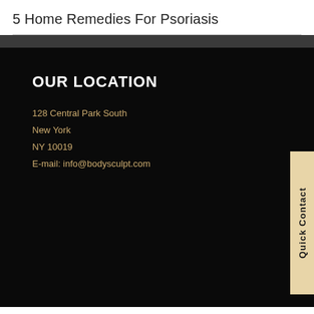5 Home Remedies For Psoriasis
OUR LOCATION
128 Central Park South
New York
NY 10019
E-mail: info@bodysculpt.com
Quick Contact